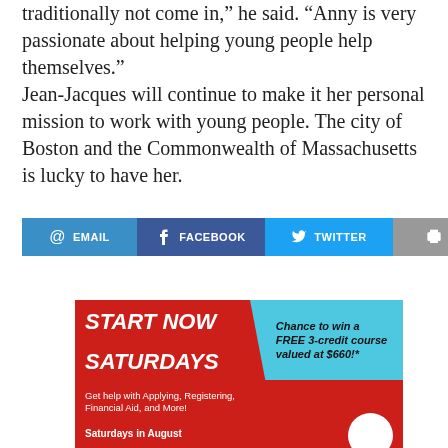traditionally not come in,” he said. “Anny is very passionate about helping young people help themselves.”
Jean-Jacques will continue to make it her personal mission to work with young people. The city of Boston and the Commonwealth of Massachusetts is lucky to have her.
[Figure (infographic): Social sharing buttons: Email (blue), Facebook (dark blue), Twitter (light blue), Print (gray)]
[Figure (infographic): Advertisement: START NOW SATURDAYS - Chance to win a FREE 3-credit course valued at $660!* Get help with Applying, Registering, Financial Aid, and More! Saturdays in August. Red background with teal banner.]